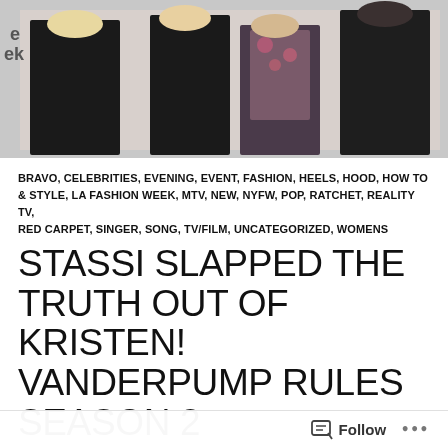[Figure (photo): Group of women posing at an event, wearing black outfits, one with floral dress; partial signage visible in background]
BRAVO, CELEBRITIES, EVENING, EVENT, FASHION, HEELS, HOOD, HOW TO & STYLE, LA FASHION WEEK, MTV, NEW, NYFW, POP, RATCHET, REALITY TV, RED CARPET, SINGER, SONG, TV/FILM, UNCATEGORIZED, WOMENS
STASSI SLAPPED THE TRUTH OUT OF KRISTEN! VANDERPUMP RULES SEASON 2
FEBRUARY 19, 2014   LEAVE A COMMENT
Vanderpump Rules Season 2 had me tuned in from the beginning all the way to the last reunion for the season. The